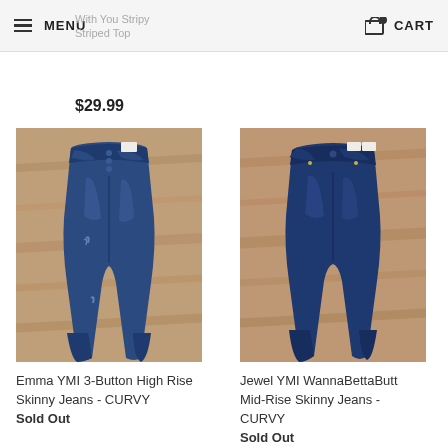MENU  CART
With You Stripy Striped Top
$29.99
[Figure (photo): Emma YMI 3-Button High Rise Skinny Jeans - CURVY, dark blue denim jeans laid flat on a patterned rug background]
Emma YMI 3-Button High Rise Skinny Jeans - CURVY
Sold Out
[Figure (photo): Jewel YMI WannaBettaButt Mid-Rise Skinny Jeans - CURVY, dark blue denim jeans laid flat on a patterned rug background]
Jewel YMI WannaBettaButt Mid-Rise Skinny Jeans - CURVY
Sold Out